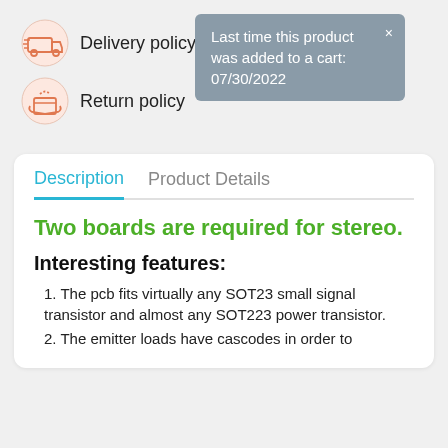Delivery policy
Last time this product was added to a cart: 07/30/2022
Return policy
Description   Product Details
Two boards are required for stereo.
Interesting features:
1. The pcb fits virtually any SOT23 small signal transistor and almost any SOT223 power transistor.
2. The emitter loads have cascodes in order to